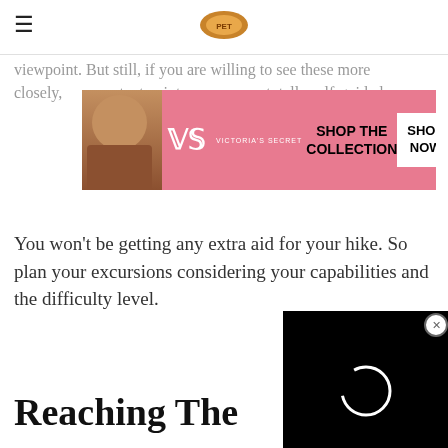viewpoint. But still, if you are willing to see these more closely, ... important point w... totally self-guided.
[Figure (advertisement): Victoria's Secret advertisement banner with model, VS logo, 'SHOP THE COLLECTION' text and 'SHOP NOW' button]
You won't be getting any extra aid for your hike. So plan your excursions considering your capabilities and the difficulty level.
[Figure (screenshot): Video overlay with loading spinner circle on black background, with close (X) button]
Reaching The
[Figure (advertisement): Lottery/contest advertisement banner with 'TO WIN!' diagonal red banner on left, colorful geometric pattern on right, with CLOSE button]
[Figure (advertisement): Victoria's Secret advertisement banner at bottom with model, VS logo, 'SHOP THE COLLECTION' text and 'SHOP NOW' button]
w/ BEST SELLING